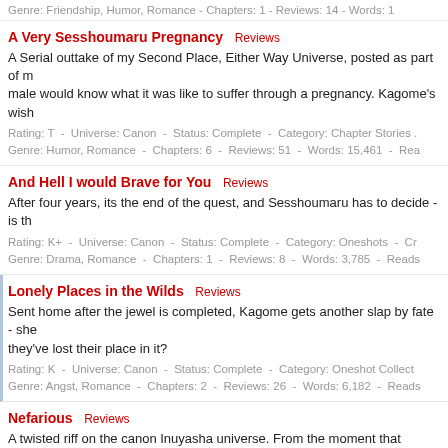Genre: Friendship, Humor, Romance - Chapters: 1 - Reviews: 14 - Words: 1
A Very Sesshoumaru Pregnancy  Reviews
A Serial outtake of my Second Place, Either Way Universe, posted as part of m... male would know what it was like to suffer through a pregnancy. Kagome's wish...
Rating: T  -  Universe: Canon  -  Status: Complete  -  Category: Chapter Stories ...
Genre: Humor, Romance  -  Chapters: 6  -  Reviews: 51  -  Words: 15,461  -  Rea...
And Hell I would Brave for You  Reviews
After four years, its the end of the quest, and Sesshoumaru has to decide - is th...
Rating: K+  -  Universe: Canon  -  Status: Complete  -  Category: Oneshots  -  Cr...
Genre: Drama, Romance  -  Chapters: 1  -  Reviews: 8  -  Words: 3,785  -  Reads...
Lonely Places in the Wilds  Reviews
Sent home after the jewel is completed, Kagome gets another slap by fate - she... they've lost their place in it?
Rating: K  -  Universe: Canon  -  Status: Complete  -  Category: Oneshot Collect...
Genre: Angst, Romance  -  Chapters: 2  -  Reviews: 26  -  Words: 6,182  -  Reads...
Nefarious  Reviews
A twisted riff on the canon Inuyasha universe. From the moment that Sesshou... for her - and not even wanting to - Sesshoumaru turns his attention from his fat... to accept his dark desires and in her fear fights him every step of the way. But h... not by Inuyasha, and not even by Kagome. Proud winner of 2nd Best action/Ad... Angst Final Term 2013.
Rating: MA  -  Universe: Canon  -  Status: Complete  -  Category: Chapter Storie...
Genre: Action, Angst, Drama, Romance  -  Chapters: 23  -  Reviews: 220  -  Wor...